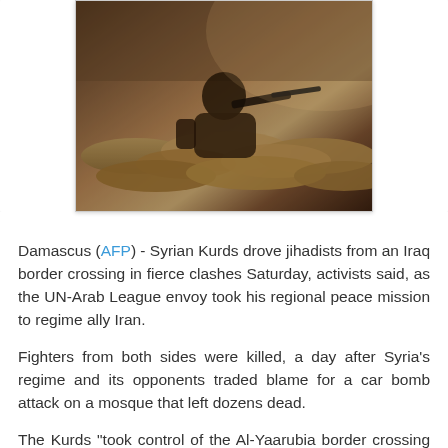[Figure (photo): A fighter crouching behind sandbags, holding a weapon, in a combat or conflict zone setting.]
Damascus (AFP) - Syrian Kurds drove jihadists from an Iraq border crossing in fierce clashes Saturday, activists said, as the UN-Arab League envoy took his regional peace mission to regime ally Iran.
Fighters from both sides were killed, a day after Syria's regime and its opponents traded blame for a car bomb attack on a mosque that left dozens dead.
The Kurds "took control of the Al-Yaarubia border crossing with Iraq at dawn after clashes with the Islamic State in Iraq and the Levant (ISIL), the Al-Nusra Front and other rebels," the Syrian Observatory for Human Rights said, citing